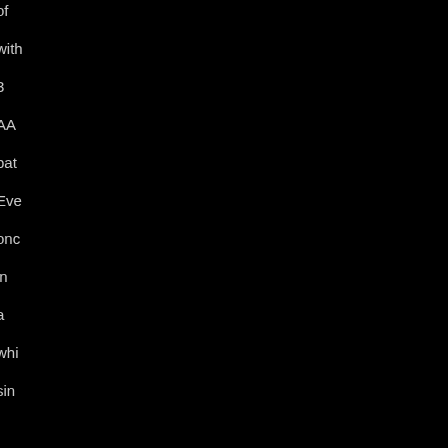of with 3 AA bat Eve onc in a whi sin I had the LF ver I wor try to use 2 AA bat